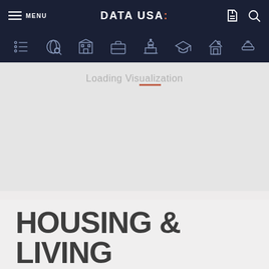MENU | DATA USA: | [cart] [search]
[Figure (screenshot): Navigation icon row with 8 category icons on dark navy background]
[Figure (screenshot): Gray loading visualization area with 'Loading Visualization' text]
HOUSING & LIVING